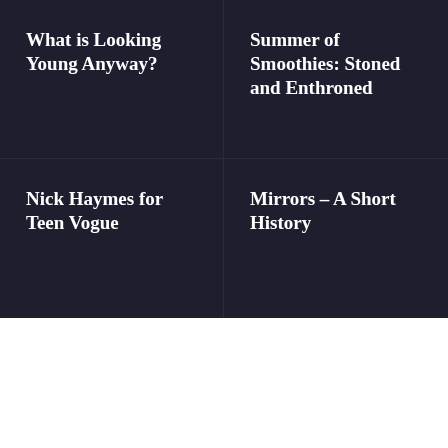What is Looking Young Anyway?
Summer of Smoothies: Stoned and Enthroned
Nick Haymes for Teen Vogue
Mirrors – A Short History